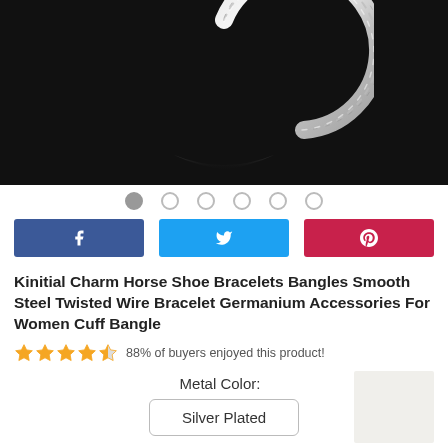[Figure (photo): Silver twisted wire bracelet bangle on black background, showing the product from above with reflection]
● ○ ○ ○ ○ ○ (image carousel dot navigation)
[Figure (infographic): Social share buttons: Facebook (blue), Twitter (cyan), Pinterest (red)]
Kinitial Charm Horse Shoe Bracelets Bangles Smooth Steel Twisted Wire Bracelet Germanium Accessories For Women Cuff Bangle
★★★★½  88% of buyers enjoyed this product!
Metal Color:
Silver Plated
[Figure (photo): Light beige/silver color swatch box]
Three color option boxes (partially visible at bottom)